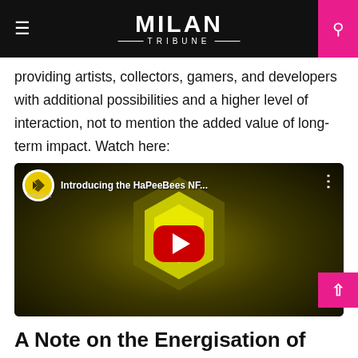MILAN TRIBUNE
providing artists, collectors, gamers, and developers with additional possibilities and a higher level of interaction, not to mention the added value of long-term impact. Watch here:
[Figure (screenshot): YouTube video embed thumbnail showing 'Introducing the HaPeeBees NF...' with animated bee characters around a yellow hexagon shape on dark background, with red YouTube play button in center.]
A Note on the Energisation of